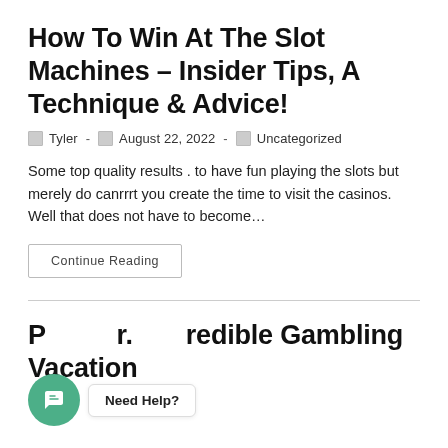How To Win At The Slot Machines – Insider Tips, A Technique & Advice!
🗓 Tyler - 📅 August 22, 2022 - 🗂 Uncategorized
Some top quality results . to have fun playing the slots but merely do canrrrt you create the time to visit the casinos. Well that does not have to become…
Continue Reading
P… r… incredible Gambling Vacation